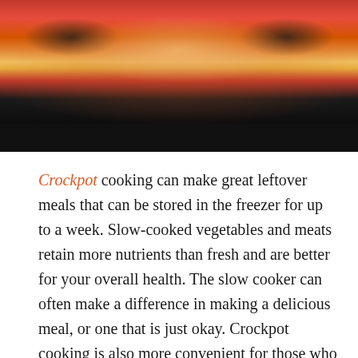[Figure (photo): Photo of crockpot/slow cooker with food (appears to be a cheesy baked dish), shown from above, with a dark black bar at the bottom of the image.]
Crockpot cooking can make great leftover meals that can be stored in the freezer for up to a week. Slow-cooked vegetables and meats retain more nutrients than fresh and are better for your overall health. The slow cooker can often make a difference in making a delicious meal, or one that is just okay. Crockpot cooking is also more convenient for those who want to be able to cook their favorite dishes easily and without having to worry about them being overcooked or having to spend hours in the kitchen. Many crockpot recipes retain much of their original flavor even after they are refrigerated for several